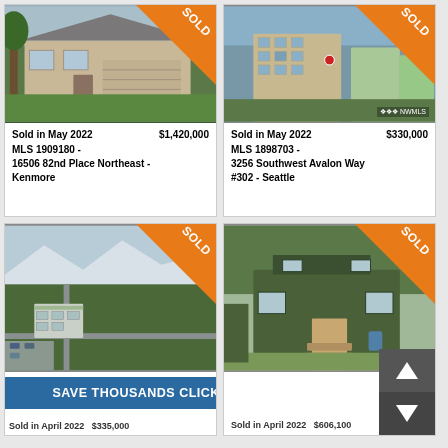[Figure (photo): House with garage, green lawn, sold ribbon top-right]
Sold in May 2022   $1,420,000
MLS 1909180 -
16506 82nd Place Northeast -
Kenmore
[Figure (photo): Aerial view of condo building in Seattle, sold ribbon top-right, NWMLS watermark]
Sold in May 2022   $330,000
MLS 1898703 -
3256 Southwest Avalon Way
#302 - Seattle
[Figure (photo): Aerial view of apartment complex surrounded by trees, sold ribbon top-right]
[Figure (photo): Green house with front steps, sold ribbon top-right]
SAVE THOUSANDS CLICK HERE
Sold in April 2022   $335,000
Sold in April 2022   $606,100